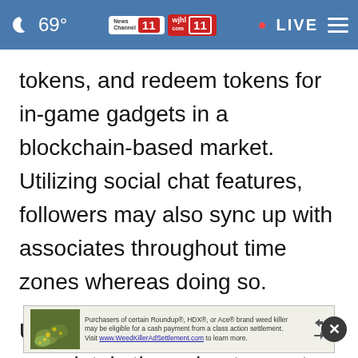69° News Channel 11 wjhl 11 · LIVE
tokens, and redeem tokens for in-game gadgets in a blockchain-based market. Utilizing social chat features, followers may also sync up with associates throughout time zones whereas doing so.
Unique NFTs, made out there completely throughout esports tournaments, will be minted and bought through marketplaces that we can rely on. These may also be made prova... of
[Figure (screenshot): Advertisement banner overlay at the bottom: Roundup/HDX/Ace brand weed killer class action settlement ad with thumbnail image of plants, text and close button]